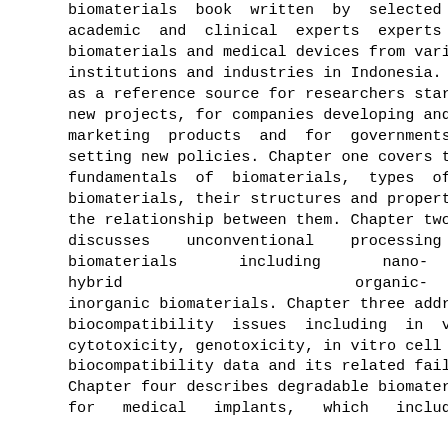biomaterials book written by selected academic and clinical experts experts on biomaterials and medical devices from various institutions and industries in Indonesia. It serves as a reference source for researchers starting new projects, for companies developing and marketing products and for governments setting new policies. Chapter one covers the fundamentals of biomaterials, types of biomaterials, their structures and properties and the relationship between them. Chapter two discusses unconventional processing of biomaterials including nano-hybrid organic-inorganic biomaterials. Chapter three addresses biocompatibility issues including in vitro cytotoxicity, genotoxicity, in vitro cell models, biocompatibility data and its related failure. Chapter four describes degradable biomaterial for medical implants, which include